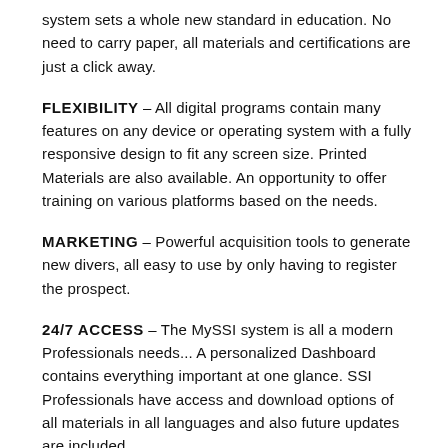system sets a whole new standard in education. No need to carry paper, all materials and certifications are just a click away.
FLEXIBILITY – All digital programs contain many features on any device or operating system with a fully responsive design to fit any screen size. Printed Materials are also available. An opportunity to offer training on various platforms based on the needs.
MARKETING – Powerful acquisition tools to generate new divers, all easy to use by only having to register the prospect.
24/7 ACCESS – The MySSI system is all a modern Professionals needs... A personalized Dashboard contains everything important at one glance. SSI Professionals have access and download options of all materials in all languages and also future updates are included.